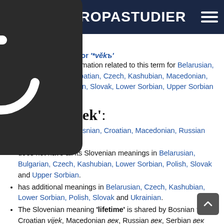ØSTEUROPASTUDIER
age, epoch
Semasiological map for '*věkъ'
The database has information related to this term for Belarusian, Bosnian, Bulgarian, Croatian, Czech, Kashubian, Macedonian, Polish, Russian, Serbian, Slovak, Lower Sorbian, Upper Sorbian and Ukrainian.
Slovenian 'vek':
is a true friend in Bosnian, Croatian, Macedonian, Russian and Serbian.
does not have all its Slovenian meanings in Belarusian, Bulgarian, Czech, Kashubian, Lower Sorbian, Polish, Slovak and Upper Sorbian.
has additional meanings in Belarusian, Czech, Kashubian, Lower Sorbian, Polish, Slovak and Ukrainian.
The Slovenian meaning 'lifetime' is shared by Bosnian vijek, Croatian vijek, Macedonian век, Russian век, Serbian век and Ukrainian вік.
The Slovenian meaning 'century' is shared by Bosnian vijek, Bulgarian век, Croatian vijek, Czech věk, Macedonian век, Polish